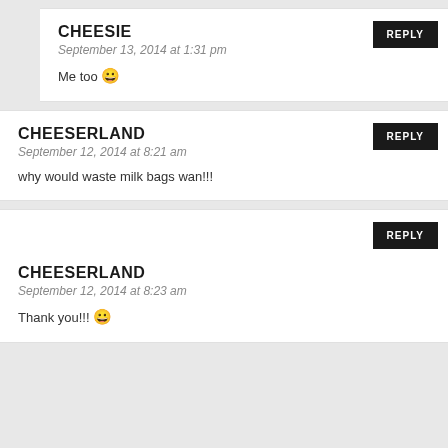CHEESIE
September 13, 2014 at 1:31 pm
Me too 😀
CHEESERLAND
September 12, 2014 at 8:21 am
why would waste milk bags wan!!!
CHEESERLAND
September 12, 2014 at 8:23 am
Thank you!!! 😀